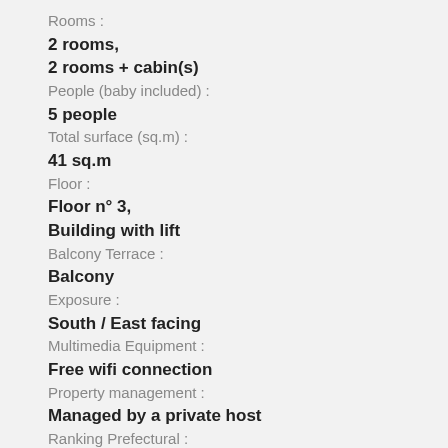Rooms :
2 rooms,
2 rooms + cabin(s)
People (baby included) :
5 people
Total surface (sq.m) :
41 sq.m
Floor :
Floor n° 3,
Building with lift
Balcony Terrace :
Balcony
Exposure :
South / East facing
Multimedia Equipment :
Free wifi connection
Property management :
Managed by a private host
Ranking Prefectural :
★★★
Advantages :
Welcome kit (cleaning products…)